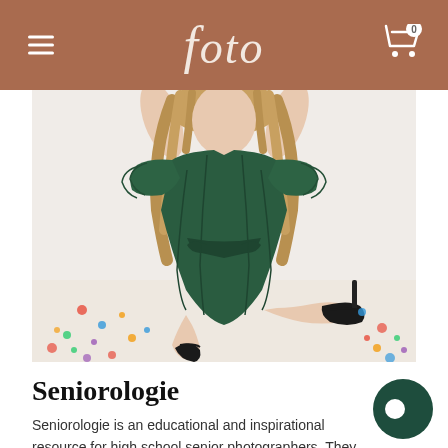foto
[Figure (photo): A young woman with curly hair sitting on the floor wearing a dark green velvet wrap dress with ruffle sleeves and black heeled shoes, posed against a white background with colorful confetti on the floor.]
Seniorologie
Seniorologie is an educational and inspirational resource for high school senior photographers. They are